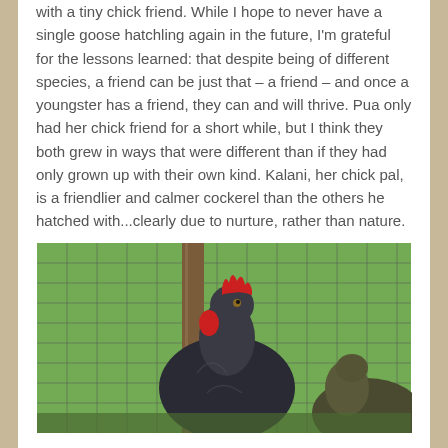with a tiny chick friend. While I hope to never have a single goose hatchling again in the future, I'm grateful for the lessons learned: that despite being of different species, a friend can be just that – a friend – and once a youngster has a friend, they can and will thrive. Pua only had her chick friend for a short while, but I think they both grew in ways that were different than if they had only grown up with their own kind. Kalani, her chick pal, is a friendlier and calmer cockerel than the others he hatched with...clearly due to nurture, rather than nature.
[Figure (photo): A rooster with a bright red comb and wattles, with dark feathers, standing in front of a wire mesh fence with green foliage in the background. Another bird is partially visible to the right.]